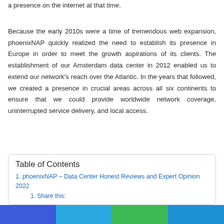a presence on the internet at that time.
Because the early 2010s were a time of tremendous web expansion, phoenixNAP quickly realized the need to establish its presence in Europe in order to meet the growth aspirations of its clients. The establishment of our Amsterdam data center in 2012 enabled us to extend our network's reach over the Atlantic. In the years that followed, we created a presence in crucial areas across all six continents to ensure that we could provide worldwide network coverage, uninterrupted service delivery, and local access.
Table of Contents
1. phoenixNAP – Data Center Honest Reviews and Expert Opinion 2022
1. Share this: